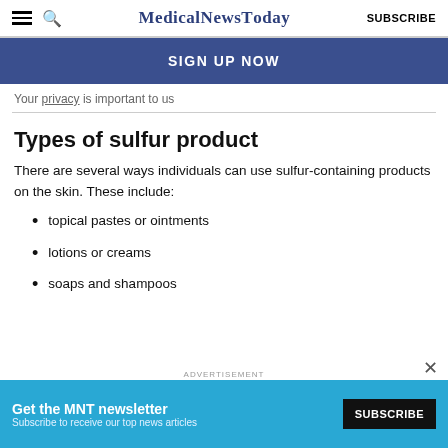MedicalNewsToday | SUBSCRIBE
[Figure (screenshot): Blue signup bar with text SIGN UP NOW]
Your privacy is important to us
Types of sulfur product
There are several ways individuals can use sulfur-containing products on the skin. These include:
topical pastes or ointments
lotions or creams
soaps and shampoos
[Figure (screenshot): Advertisement banner: Get the MNT newsletter. Subscribe to receive our top news articles. SUBSCRIBE button.]